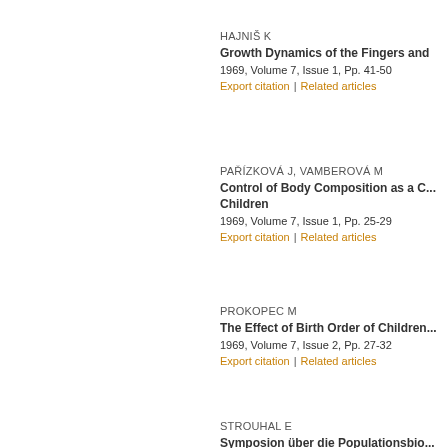HAJNIŠ K
Growth Dynamics of the Fingers and...
1969, Volume 7, Issue 1, Pp. 41-50
Export citation  |  Related articles
PAŘÍZKOVÁ J, VAMBEROVÁ M
Control of Body Composition as a C... Children
1969, Volume 7, Issue 1, Pp. 25-29
Export citation  |  Related articles
PROKOPEC M
The Effect of Birth Order of Children...
1969, Volume 7, Issue 2, Pp. 27-32
Export citation  |  Related articles
STROUHAL E
Symposion über die Populationsbio...